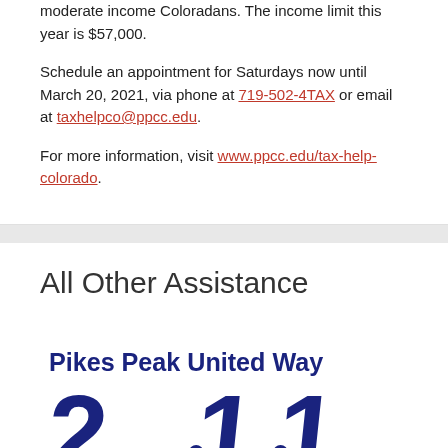moderate income Coloradans. The income limit this year is $57,000.
Schedule an appointment for Saturdays now until March 20, 2021, via phone at 719-502-4TAX or email at taxhelpco@ppcc.edu.
For more information, visit www.ppcc.edu/tax-help-colorado.
All Other Assistance
[Figure (logo): Pikes Peak United Way 2-1-1 logo with large bold blue numbers]